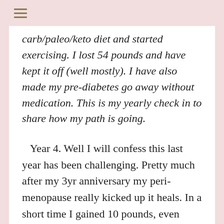≡
carb/paleo/keto diet and started exercising. I lost 54 pounds and have kept it off (well mostly). I have also made my pre-diabetes go away without medication. This is my yearly check in to share how my path is going.
Year 4. Well I will confess this last year has been challenging. Pretty much after my 3yr anniversary my peri-menopause really kicked up it heals. In a short time I gained 10 pounds, even though I was exercising and eating as I always do. I have to say it's really hard to have you body just go up in weight while still eating right and